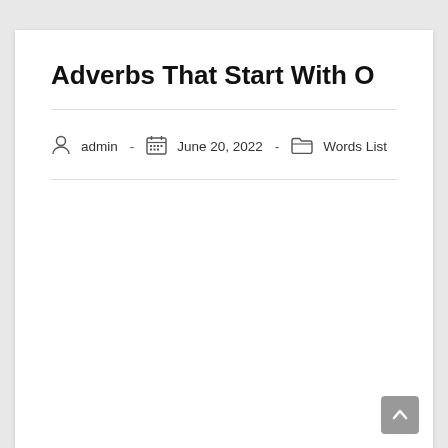Adverbs That Start With O
admin  -  June 20, 2022  -  Words List